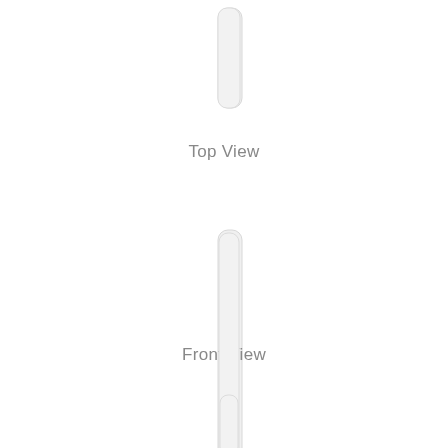[Figure (engineering-diagram): Top View and Front View engineering drawing of a thin vertical rod/pin shape. Top view shows a small rounded rectangle at top center. Front view shows a tall thin rounded rectangle in the center of the page. Below the front view label is another small rounded rectangle at the bottom.]
Top View
Front View